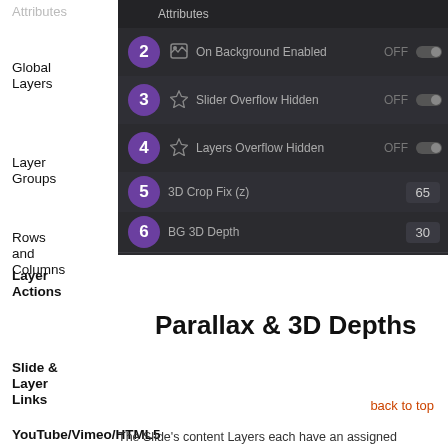[Figure (screenshot): Dark UI panel showing numbered settings rows: row 2 On Background Enabled OFF, row 3 Slider Overflow Hidden OFF, row 4 Layers Overflow Hidden OFF, row 5 3D Crop Fix (z) 65, row 6 BG 3D Depth 30]
Attributes
Global Layers
Layer Groups
Rows and Columns
Layer Actions
Parallax & 3D Depths
Slide & Layer Links
back to top
YouTube/Vimeo/HTML5
The Slide's content Layers each have an assigned